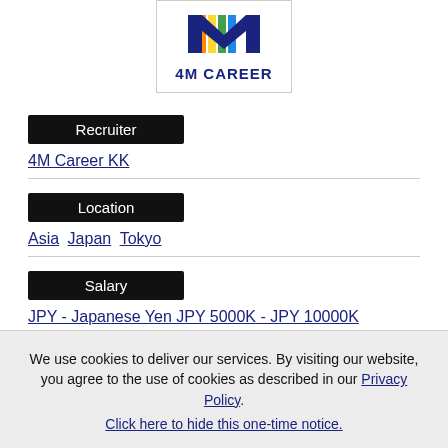[Figure (logo): 4M Career logo with colorful vertical stripes forming an M shape above the text '4M CAREER' in dark navy blue]
Recruiter
4M Career KK
Location
Asia Japan Tokyo
Salary
JPY - Japanese Yen JPY 5000K - JPY 10000K
Japanese Level
We use cookies to deliver our services. By visiting our website, you agree to the use of cookies as described in our Privacy Policy.
Click here to hide this one-time notice.